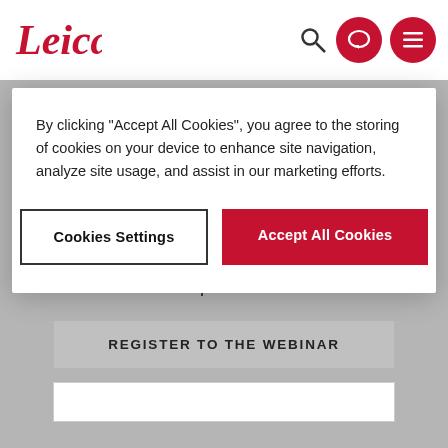[Figure (logo): Leica Microsystems logo in red script on white nav bar]
By clicking “Accept All Cookies”, you agree to the storing of cookies on your device to enhance site navigation, analyze site usage, and assist in our marketing efforts.
Cookies Settings
Accept All Cookies
private foundation/corporate funding for research.
2. Identify the tools and strategies for finding private foundation and corporate grant opportunities.
3. Describe common procedures and approaches in applying for research funding from private foundations and corporations.
REGISTER TO THE WEBINAR